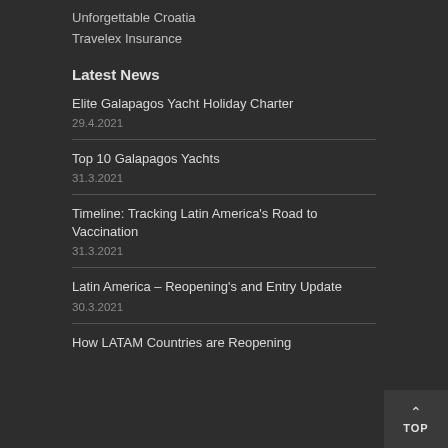Unforgettable Croatia
Travelex Insurance
Latest News
Elite Galapagos Yacht Holiday Charter
29.4.2021
Top 10 Galapagos Yachts
31.3.2021
Timeline: Tracking Latin America's Road to Vaccination
31.3.2021
Latin America – Reopening's and Entry Update
30.3.2021
How LATAM Countries are Reopening